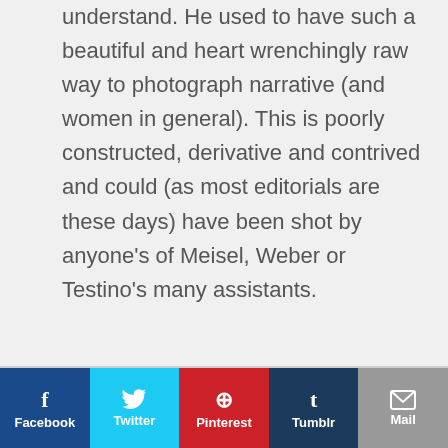understand. He used to have such a beautiful and heart wrenchingly raw way to photograph narrative (and women in general). This is poorly constructed, derivative and contrived and could (as most editorials are these days) have been shot by anyone's of Meisel, Weber or Testino's many assistants.
Facebook | Twitter | Pinterest | Tumblr | Mail